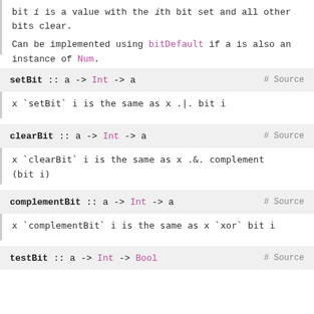bit i is a value with the ith bit set and all other bits clear.
Can be implemented using bitDefault if a is also an instance of Num.
See also zeroBits.
setBit :: a -> Int -> a   # Source
x `setBit` i is the same as x .|. bit i
clearBit :: a -> Int -> a   # Source
x `clearBit` i is the same as x .&. complement (bit i)
complementBit :: a -> Int -> a   # Source
x `complementBit` i is the same as x `xor` bit i
testBit :: a -> Int -> Bool   # Source